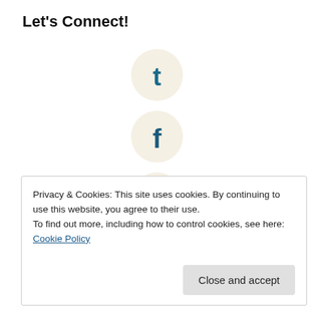Let's Connect!
[Figure (logo): Twitter bird icon in a circular button with light beige background]
[Figure (logo): Facebook 'f' icon in a circular button with light beige background]
[Figure (logo): LinkedIn 'in' icon in a circular button with light beige background]
Privacy & Cookies: This site uses cookies. By continuing to use this website, you agree to their use.
To find out more, including how to control cookies, see here: Cookie Policy
Close and accept